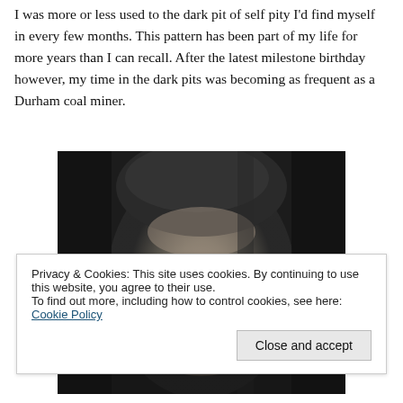I was more or less used to the dark pit of self pity I'd find myself in every few months. This pattern has been part of my life for more years than I can recall. After the latest milestone birthday however, my time in the dark pits was becoming as frequent as a Durham coal miner.
[Figure (photo): Black and white close-up photograph of a man's face, appearing worn and weathered, looking directly at the camera. The image is cropped to show mainly the face and upper head area.]
Privacy & Cookies: This site uses cookies. By continuing to use this website, you agree to their use.
To find out more, including how to control cookies, see here: Cookie Policy